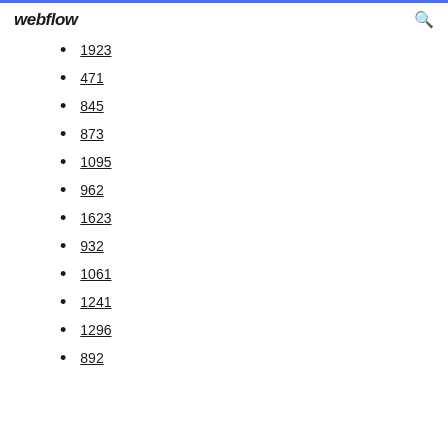webflow
1923
471
845
873
1095
962
1623
932
1061
1241
1296
892